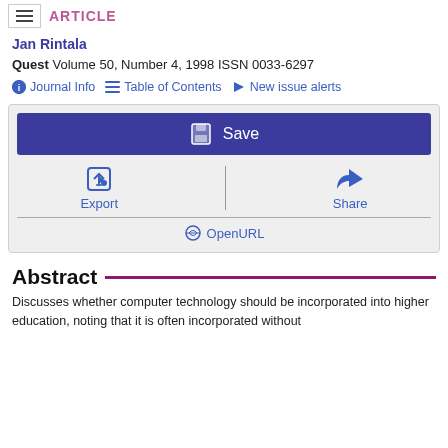ARTICLE
Jan Rintala
Quest Volume 50, Number 4, 1998 ISSN 0033-6297
Journal Info   Table of Contents   New issue alerts
[Figure (screenshot): Action panel with Save button, Export and Share options, and OpenURL link]
Abstract
Discusses whether computer technology should be incorporated into higher education, noting that it is often incorporated without